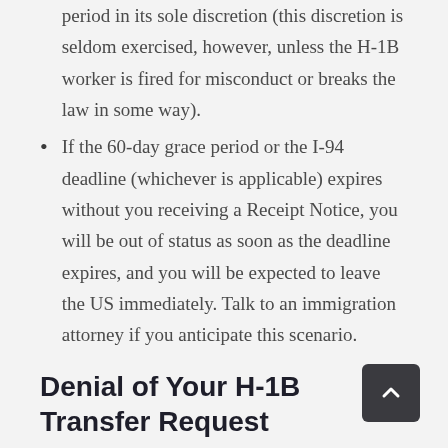period in its sole discretion (this discretion is seldom exercised, however, unless the H-1B worker is fired for misconduct or breaks the law in some way).
If the 60-day grace period or the I-94 deadline (whichever is applicable) expires without you receiving a Receipt Notice, you will be out of status as soon as the deadline expires, and you will be expected to leave the US immediately. Talk to an immigration attorney if you anticipate this scenario.
Denial of Your H-1B Transfer Request
If the USCIS denies your H-1B transfer petition, you can remain at your old job if your employer will accept you. However, bear in mind that...